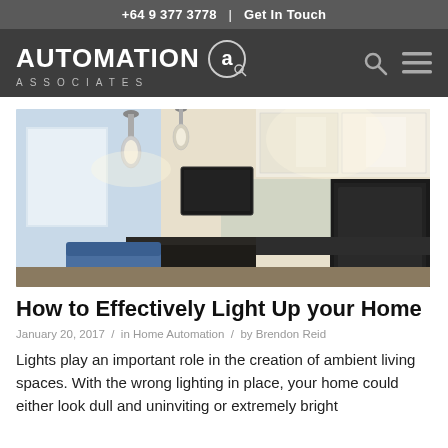+64 9 377 3778  |  Get In Touch
[Figure (logo): Automation Associates logo with circular 'a' icon on dark background navigation bar]
[Figure (photo): Modern home interior showing a living room and kitchen with pendant lights, white cabinetry, dark countertops, wall-mounted TV, and large windows]
How to Effectively Light Up your Home
January 20, 2017  /  in Home Automation  /  by Brendon Reid
Lights play an important role in the creation of ambient living spaces. With the wrong lighting in place, your home could either look dull and uninviting or extremely bright